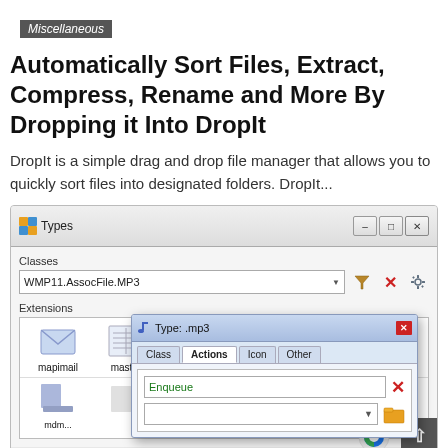Miscellaneous
Automatically Sort Files, Extract, Compress, Rename and More By Dropping it Into DropIt
DropIt is a simple drag and drop file manager that allows you to quickly sort files into designated folders. DropIt...
[Figure (screenshot): Screenshot of DropIt application showing a 'Types' window with a Classes dropdown set to 'WMP11.AssocFile.MP3', an Extensions grid showing icons for mapimail, master, mcl, mdf, mdl, and a 'Type: .mp3' dialog box with tabs for Class, Actions, Icon, Other, showing an Actions tab with 'Enqueue' entry.]